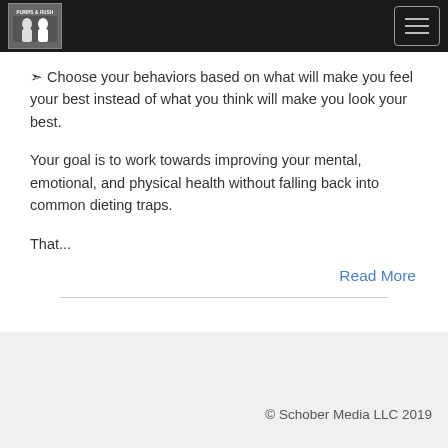Pumps & Rush logo and navigation menu
❧ Choose your behaviors based on what will make you feel your best instead of what you think will make you look your best.
Your goal is to work towards improving your mental, emotional, and physical health without falling back into common dieting traps.
That...
Read More
© Schober Media LLC 2019